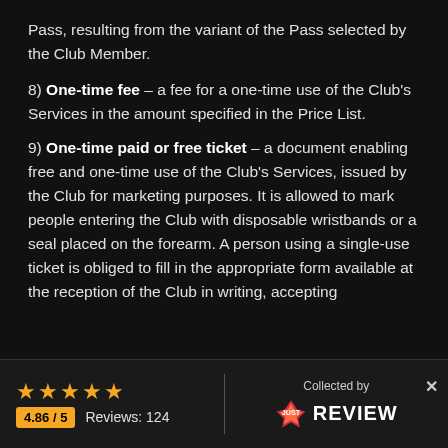Pass, resulting from the variant of the Pass selected by the Club Member.
8) One-time fee – a fee for a one-time use of the Club's Services in the amount specified in the Price List.
9) One-time paid or free ticket – a document enabling free and one-time use of the Club's Services, issued by the Club for marketing purposes. It is allowed to mark people entering the Club with disposable wristbands or a seal placed on the forearm. A person using a single-use ticket is obliged to fill in the appropriate form available at the reception of the Club in writing, accepting
[Figure (other): Review widget footer bar: 5 gold stars, rating 4.86/5, Reviews: 124, Collected by JUST REVIEW logo, close button X]